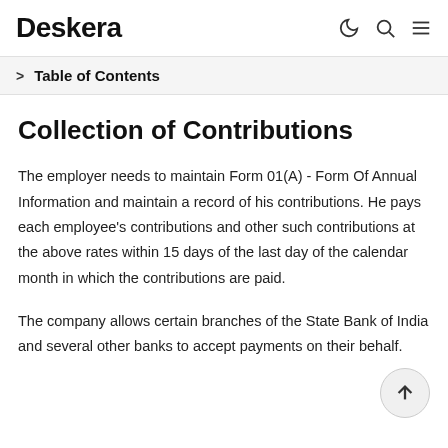Deskera
> Table of Contents
Collection of Contributions
The employer needs to maintain Form 01(A) - Form Of Annual Information and maintain a record of his contributions. He pays each employee's contributions and other such contributions at the above rates within 15 days of the last day of the calendar month in which the contributions are paid.
The company allows certain branches of the State Bank of India and several other banks to accept payments on their behalf.